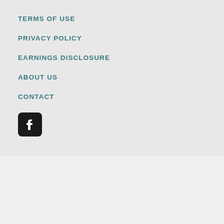TERMS OF USE
PRIVACY POLICY
EARNINGS DISCLOSURE
ABOUT US
CONTACT
[Figure (logo): Facebook social media icon — white letter f on dark rounded square background]